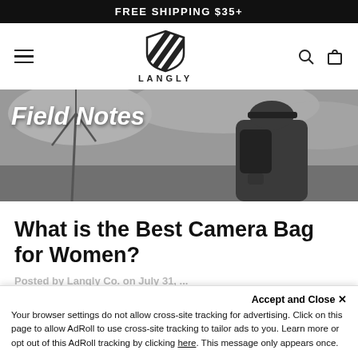FREE SHIPPING $35+
[Figure (logo): Langly brand logo: diagonal stripes shield shape with LANGLY text below]
[Figure (photo): Black and white hero banner with 'Field Notes' text overlay. Shows a person wearing a backpack and hat, with a wind turbine in the background.]
What is the Best Camera Bag for Women?
Posted by Langly Co. on July 31, ...
Accept and Close ×
Your browser settings do not allow cross-site tracking for advertising. Click on this page to allow AdRoll to use cross-site tracking to tailor ads to you. Learn more or opt out of this AdRoll tracking by clicking here. This message only appears once.